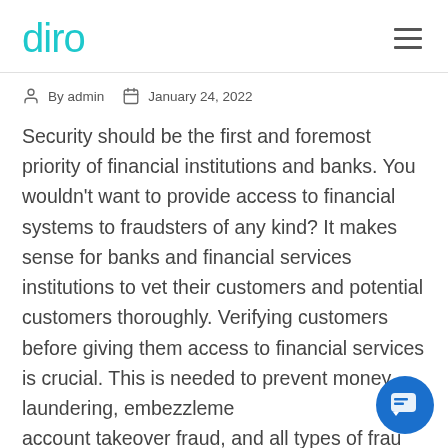diro
By admin   January 24, 2022
Security should be the first and foremost priority of financial institutions and banks. You wouldn't want to provide access to financial systems to fraudsters of any kind? It makes sense for banks and financial services institutions to vet their customers and potential customers thoroughly. Verifying customers before giving them access to financial services is crucial. This is needed to prevent money laundering, embezzlement, account takeover fraud, and all types of fraud.